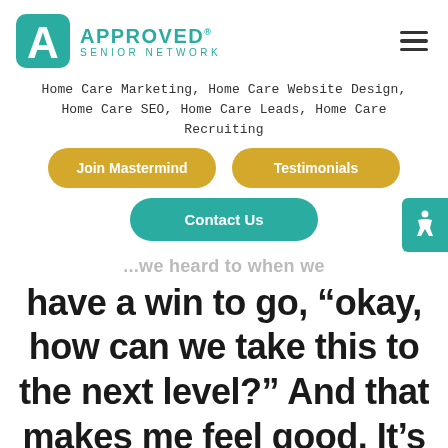[Figure (logo): Approved Senior Network logo with teal A-shaped icon and teal text reading APPROVED SENIOR NETWORK]
Home Care Marketing, Home Care Website Design, Home Care SEO, Home Care Leads, Home Care Recruiting
Join Mastermind
Testimonials
Contact Us
...we heard to when we have a win to go, “okay, how can we take this to the next level?” And that makes me feel good. It’s my selfish pleasure...